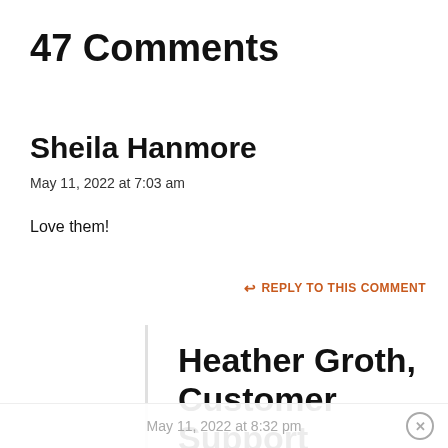47 Comments
Sheila Hanmore
May 11, 2022 at 7:03 am
Love them!
↩ REPLY TO THIS COMMENT
Heather Groth, Customer Support
May 11, 2022 at 8:32 pm